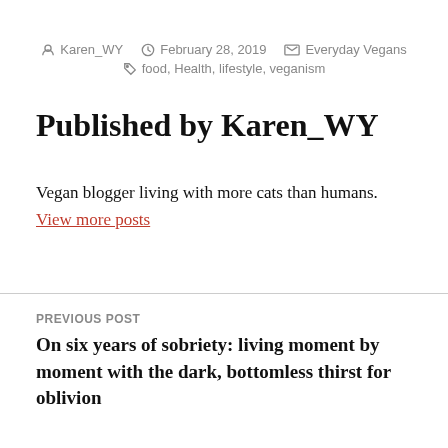Karen_WY   February 28, 2019   Everyday Vegans   food, Health, lifestyle, veganism
Published by Karen_WY
Vegan blogger living with more cats than humans. View more posts
PREVIOUS POST
On six years of sobriety: living moment by moment with the dark, bottomless thirst for oblivion